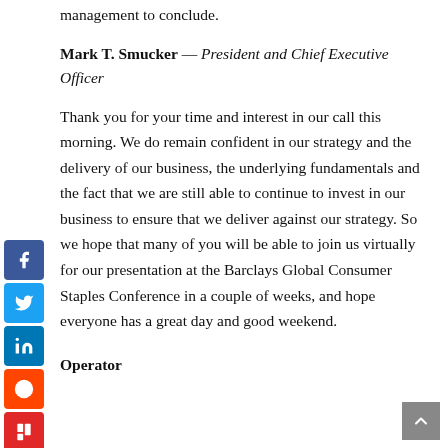management to conclude.
Mark T. Smucker — President and Chief Executive Officer
Thank you for your time and interest in our call this morning. We do remain confident in our strategy and the delivery of our business, the underlying fundamentals and the fact that we are still able to continue to invest in our business to ensure that we deliver against our strategy. So we hope that many of you will be able to join us virtually for our presentation at the Barclays Global Consumer Staples Conference in a couple of weeks, and hope everyone has a great day and good weekend.
Operator